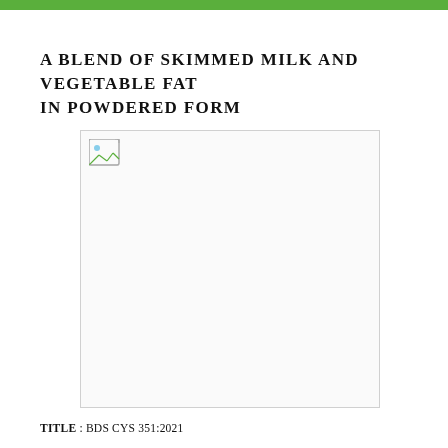A BLEND OF SKIMMED MILK AND VEGETABLE FAT IN POWDERED FORM
[Figure (illustration): Image placeholder showing a broken image icon in the top-left of a white bordered box]
TITLE : BDS CYS 351:2021